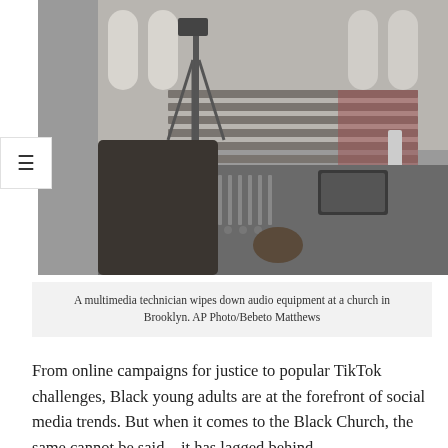[Figure (photo): A multimedia technician at a mixing board/audio console in a church, with pews and camera equipment visible in the background. Black and white / desaturated photo.]
A multimedia technician wipes down audio equipment at a church in Brooklyn. AP Photo/Bebeto Matthews
From online campaigns for justice to popular TikTok challenges, Black young adults are at the forefront of social media trends. But when it comes to the Black Church, the same cannot be said – it has lagged behind in the adopt...digital...